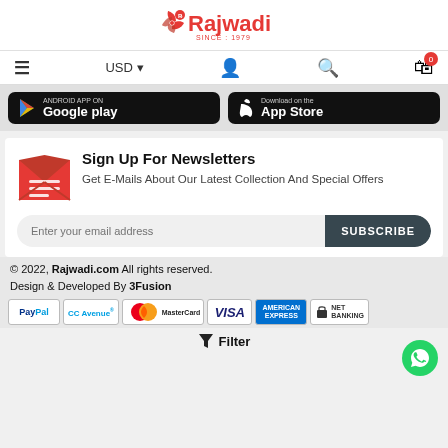[Figure (logo): Rajwadi logo — red pinwheel icon with Rajwadi text in red, SINCE: 1979 below]
[Figure (screenshot): Navigation bar with hamburger menu, USD dropdown, user icon, search icon, and shopping bag with 0 badge]
[Figure (infographic): Android App on Google Play and Download on the App Store buttons]
Sign Up For Newsletters
Get E-Mails About Our Latest Collection And Special Offers
Enter your email address  SUBSCRIBE
© 2022, Rajwadi.com All rights reserved. Design & Developed By 3Fusion
[Figure (infographic): Payment method logos: PayPal, CC Avenue, MasterCard, VISA, American Express, Net Banking]
Filter